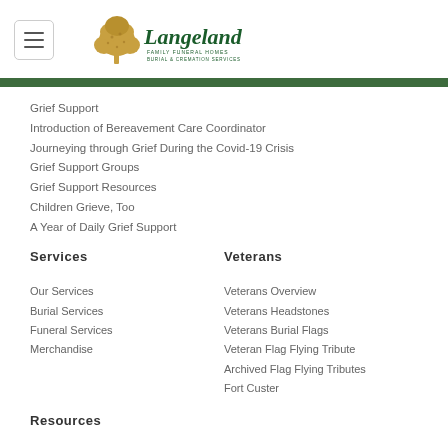[Figure (logo): Langeland Family Funeral Homes Burial & Cremation Services logo with tree illustration]
Grief Support
Introduction of Bereavement Care Coordinator
Journeying through Grief During the Covid-19 Crisis
Grief Support Groups
Grief Support Resources
Children Grieve, Too
A Year of Daily Grief Support
Services
Veterans
Our Services
Burial Services
Funeral Services
Merchandise
Veterans Overview
Veterans Headstones
Veterans Burial Flags
Veteran Flag Flying Tribute
Archived Flag Flying Tributes
Fort Custer
Resources